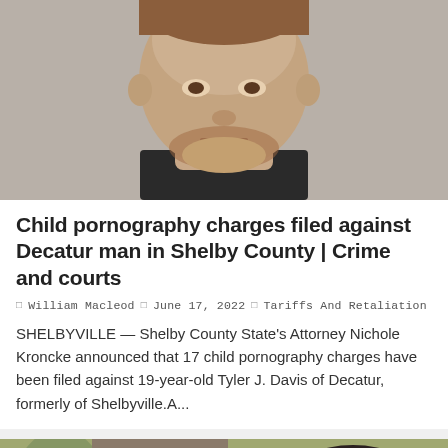[Figure (photo): Mugshot of a young man with reddish-brown beard wearing a dark shirt, gray background]
Child pornography charges filed against Decatur man in Shelby County | Crime and courts
William Macleod  June 17, 2022  Tariffs And Retaliation
SHELBYVILLE — Shelby County State's Attorney Nichole Kroncke announced that 17 child pornography charges have been filed against 19-year-old Tyler J. Davis of Decatur, formerly of Shelbyville.A...
[Figure (photo): Two people: an older man with glasses and gray-brown hair on the left, a woman with dark hair and bangs on a purple background on the right (inset photo with blue border)]